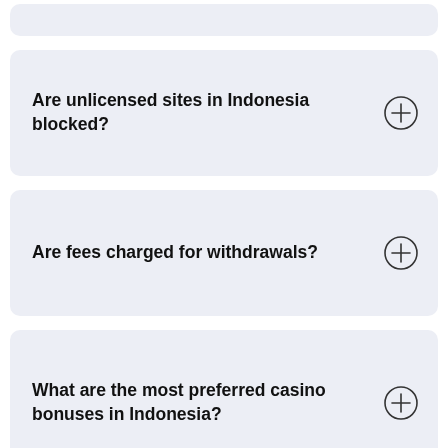Are unlicensed sites in Indonesia blocked?
Are fees charged for withdrawals?
What are the most preferred casino bonuses in Indonesia?
What are the most popular game providers in Indonesia?